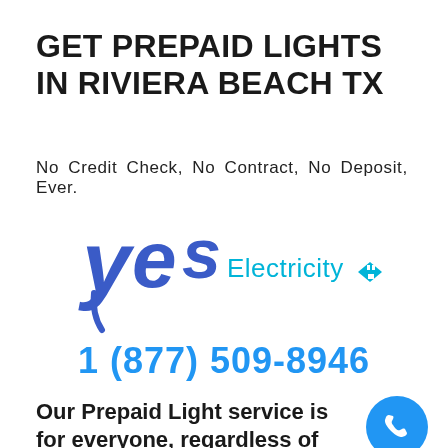GET PREPAID LIGHTS IN RIVIERA BEACH TX
No Credit Check, No Contract, No Deposit, Ever.
[Figure (logo): Yes Electricity logo with stylized blue 'yes' text and 'Electricity' in cyan with a diamond/plug icon]
1 (877) 509-8946
Our Prepaid Light service is for everyone, regardless of income or